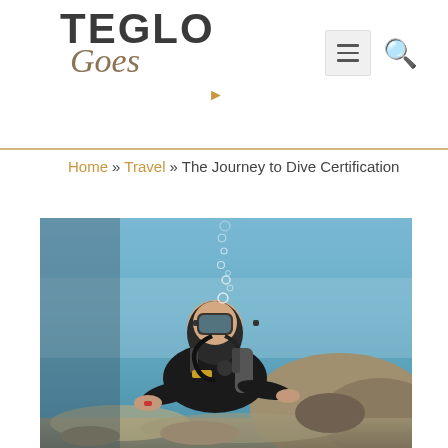TEGLO Goes (logo with navigation)
Home » Travel » The Journey to Dive Certification
[Figure (photo): Underwater photograph of a scuba diver wearing black wetsuit and diving mask, looking toward camera while hovering near a coral reef. Air bubbles rising to the surface. Blue water background with rocky reef formations.]